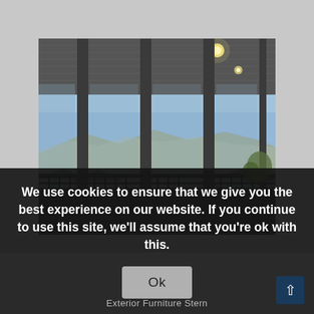[Figure (photo): Covered outdoor porch/deck with dark ceiling, recessed lighting, large open window panels revealing a view of mountains and suburban rooftops under a clear blue sky. Dark metal support columns visible.]
We use cookies to ensure that we give you the best experience on our website. If you continue to use this site, we'll assume that you're ok with this.
Exterior Furniture Stern